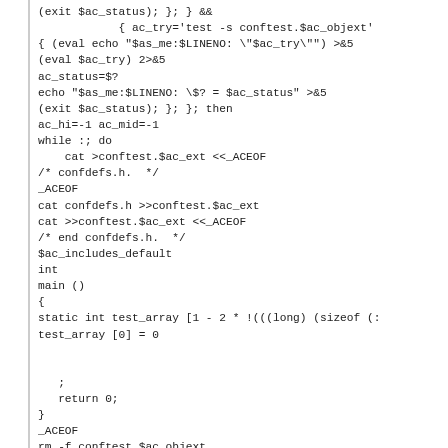(exit $ac_status); }; } &&
            { ac_try='test -s conftest.$ac_objext'
{ (eval echo "$as_me:$LINENO: \"$ac_try\"") >&5
(eval $ac_try) 2>&5
ac_status=$?
echo "$as_me:$LINENO: \$? = $ac_status" >&5
(exit $ac_status); }; }; then
ac_hi=-1 ac_mid=-1
while :; do
    cat >conftest.$ac_ext <<_ACEOF
/* confdefs.h.  */
_ACEOF
cat confdefs.h >>conftest.$ac_ext
cat >>conftest.$ac_ext <<_ACEOF
/* end confdefs.h.  */
$ac_includes_default
int
main ()
{
static int test_array [1 - 2 * !(((long) (sizeof (:
test_array [0] = 0


   ;
   return 0;
}
_ACEOF
rm -f conftest.$ac_objext
if { (eval echo "$as_me:$LINENO: \"$ac_compile\"")
   (eval $ac_compile) 2>conftest.er1
   ac_status=$?
   grep -v '^ *+' conftest.er1 >conftest.err
   rm -f conftest.er1